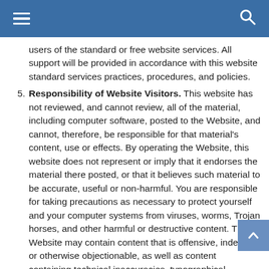Navigation header with hamburger menu and search icon
users of the standard or free website services. All support will be provided in accordance with this website standard services practices, procedures, and policies.
Responsibility of Website Visitors. This website has not reviewed, and cannot review, all of the material, including computer software, posted to the Website, and cannot, therefore, be responsible for that material's content, use or effects. By operating the Website, this website does not represent or imply that it endorses the material there posted, or that it believes such material to be accurate, useful or non-harmful. You are responsible for taking precautions as necessary to protect yourself and your computer systems from viruses, worms, Trojan horses, and other harmful or destructive content. The Website may contain content that is offensive, indecent, or otherwise objectionable, as well as content containing technical inaccuracies, typographical mistakes, and